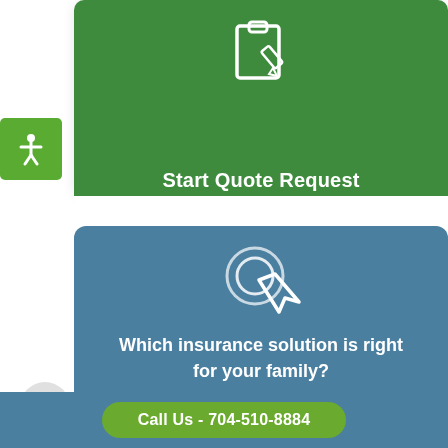[Figure (screenshot): Green card with clipboard/pencil icon and 'Start Quote Request' text on an insurance website]
Start Quote Request
[Figure (illustration): Green accessibility icon button (person with arms outstretched)]
[Figure (screenshot): Blue card with cursor/click icon asking 'Which insurance solution is right for your family?']
Which insurance solution is right for your family?
Call Us - 704-510-8884